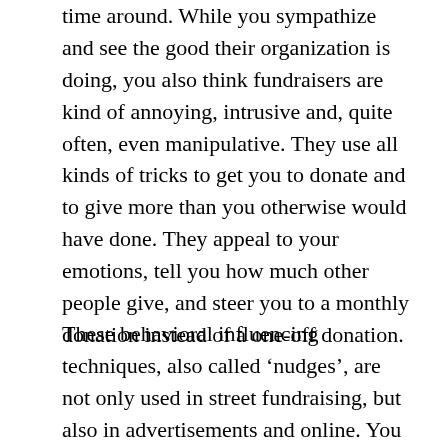time around. While you sympathize and see the good their organization is doing, you also think fundraisers are kind of annoying, intrusive and, quite often, even manipulative. They use all kinds of tricks to get you to donate and to give more than you otherwise would have done. They appeal to your emotions, tell you how much other people give, and steer you to a monthly donation instead of a one-off donation.
These behavioral influencing techniques, also called 'nudges', are not only used in street fundraising, but also in advertisements and online. You wonder: is messing with people's decision-making processes to increase their donations ethically acceptable?